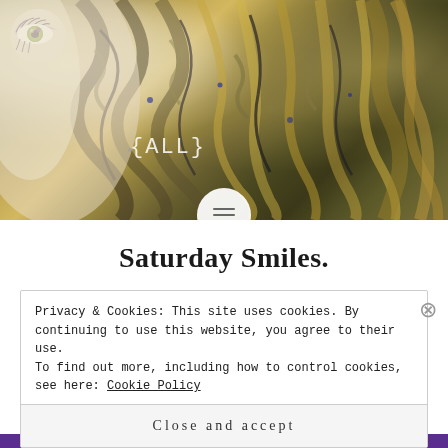[Figure (illustration): Close-up artistic photo/illustration of a face with a distinctive eye (green/yellow iris with dark eyelashes, purple-tinted eyelid), white skin on the left, and voluminous curly/braided golden-brown and dark hair filling most of the image. The text '{ALL}' appears in white monospace font over the hair area. A circular menu button is centered at the bottom of the image.]
Saturday Smiles.
Privacy & Cookies: This site uses cookies. By continuing to use this website, you agree to their use.
To find out more, including how to control cookies, see here: Cookie Policy
Close and accept